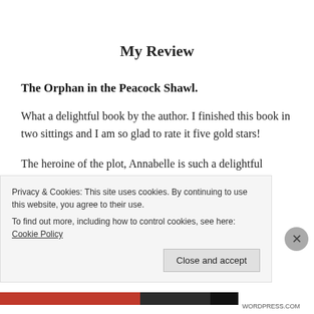My Review
The Orphan in the Peacock Shawl.
What a delightful book by the author. I finished this book in two sittings and I am so glad to rate it five gold stars!
The heroine of the plot, Annabelle is such a delightful
Privacy & Cookies: This site uses cookies. By continuing to use this website, you agree to their use.
To find out more, including how to control cookies, see here: Cookie Policy
Close and accept